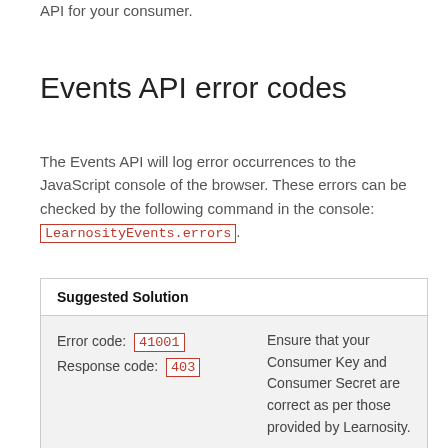API for your consumer.
Events API error codes
The Events API will log error occurrences to the JavaScript console of the browser. These errors can be checked by the following command in the console: LearnosityEvents.errors.
| Suggested Solution |
| --- |
| Error code: 41001
Response code: 403 | Ensure that your Consumer Key and Consumer Secret are correct as per those provided by Learnosity. |